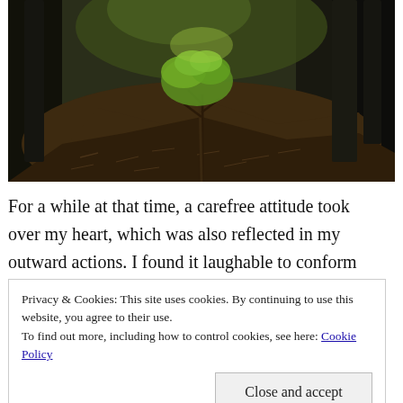[Figure (photo): A young sapling tree growing on a mound of dark soil in a forest, with tall dark tree trunks in the background and green leaves at the top of the sapling.]
For a while at that time, a carefree attitude took over my heart, which was also reflected in my outward actions. I found it laughable to conform
Privacy & Cookies: This site uses cookies. By continuing to use this website, you agree to their use.
To find out more, including how to control cookies, see here: Cookie Policy
[Close and accept]
my dhoti and wear a pair of chappals to go to